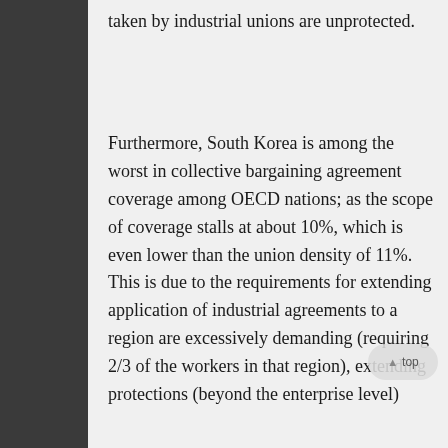taken by industrial unions are unprotected.
Furthermore, South Korea is among the worst in collective bargaining agreement coverage among OECD nations; as the scope of coverage stalls at about 10%, which is even lower than the union density of 11%. This is due to the requirements for extending application of industrial agreements to a region are excessively demanding (requiring 2/3 of the workers in that region), extending protections (beyond the enterprise level)